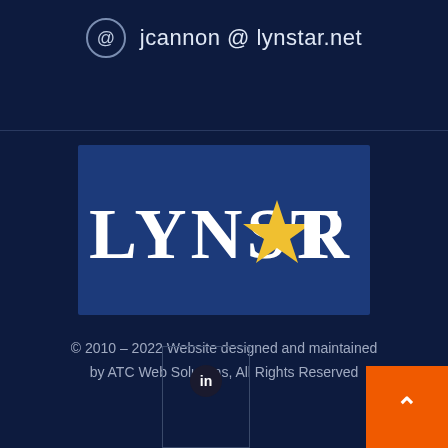@ jcannon @ lynstar.net
[Figure (logo): LYNSTAR logo with a yellow star replacing the letter A, white serif text on dark blue rectangular background]
© 2010 – 2022 Website designed and maintained by ATC Web Solutions, All Rights Reserved